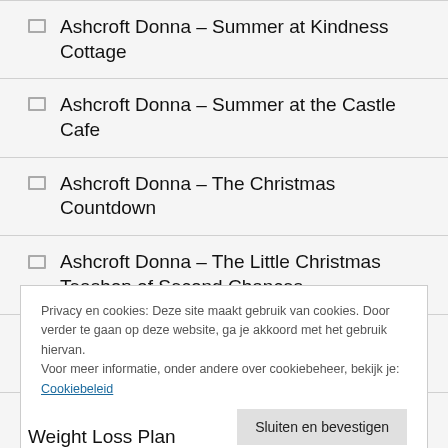Ashcroft Donna – Summer at Kindness Cottage
Ashcroft Donna – Summer at the Castle Cafe
Ashcroft Donna – The Christmas Countdown
Ashcroft Donna – The Little Christmas Teashop of Second Chances
Ashcroft Donna – The Little Cornish House
Privacy en cookies: Deze site maakt gebruik van cookies. Door verder te gaan op deze website, ga je akkoord met het gebruik hiervan. Voor meer informatie, onder andere over cookiebeheer, bekijk je: Cookiebeleid
Sluiten en bevestigen
Weight Loss Plan